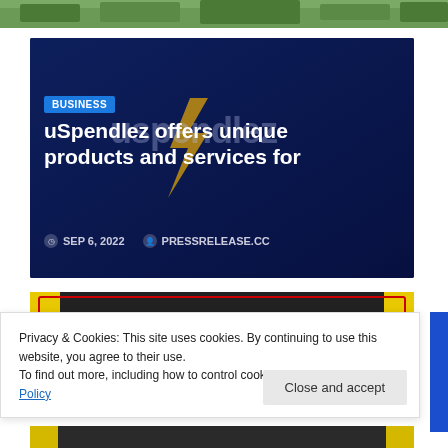[Figure (photo): Top portion of an outdoor scene showing green hedges/trees against a light sky, partially visible at top of page]
[Figure (screenshot): Dark navy blue card with 'BUSINESS' badge, headline 'uSpendlez offers unique products and services for', watermark text, date 'SEP 6, 2022' and author 'PRESSRELEASE.CC']
[Figure (screenshot): Partial view of another card with dark background, yellow corners and red border]
Privacy & Cookies: This site uses cookies. By continuing to use this website, you agree to their use.
To find out more, including how to control cookies, see here: Cookie Policy
Close and accept